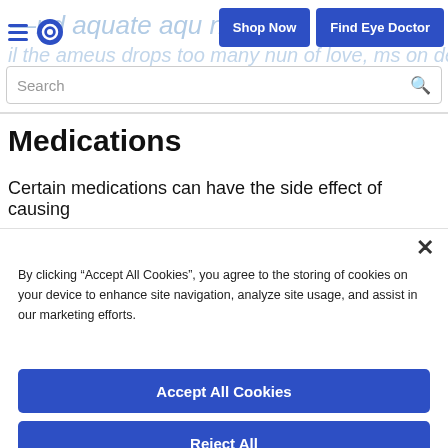...adequate aqu... | Shop Now | Find Eye Doctor
Search
Medications
Certain medications can have the side effect of causing
By clicking “Accept All Cookies”, you agree to the storing of cookies on your device to enhance site navigation, analyze site usage, and assist in our marketing efforts.
Accept All Cookies
Reject All
Cookies Settings